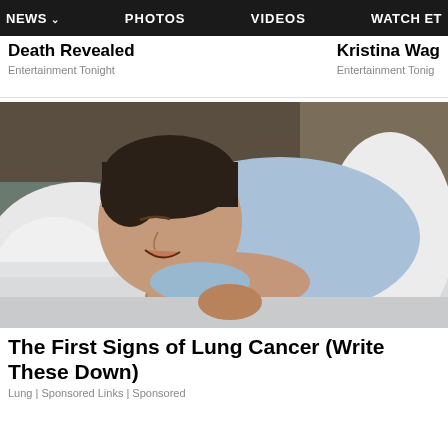NEWS  PHOTOS  VIDEOS  WATCH ET
Death Revealed
Entertainment Tonight
Kristina Wag
Entertainment Tonig
[Figure (photo): Man sleeping with mouth open on white pillow, wearing light blue t-shirt, lying in bed with white bedding and dark headboard in background]
The First Signs of Lung Cancer (Write These Down)
Lung | Sponsored Links | Sponsored